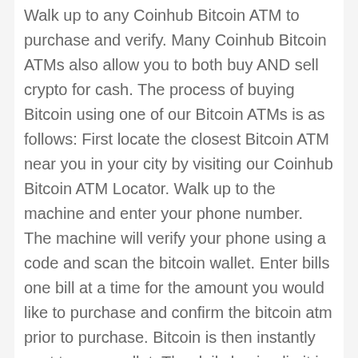Walk up to any Coinhub Bitcoin ATM to purchase and verify. Many Coinhub Bitcoin ATMs also allow you to both buy AND sell crypto for cash. The process of buying Bitcoin using one of our Bitcoin ATMs is as follows: First locate the closest Bitcoin ATM near you in your city by visiting our Coinhub Bitcoin ATM Locator. Walk up to the machine and enter your phone number. The machine will verify your phone using a code and scan the bitcoin wallet. Enter bills one bill at a time for the amount you would like to purchase and confirm the bitcoin atm prior to purchase. Bitcoin is then instantly sent to your wallet. The daily buying limit is $25,000. We have Bitcoin Machines conveniently placed throughout the country in major cities! Visit a Coinhub Bitcoin ATM today.
This Coinhub Bitcoin ATM is located inside of Lefty's Tobacco Plus at 9705 Kenwood RD in Blue Ash, OH